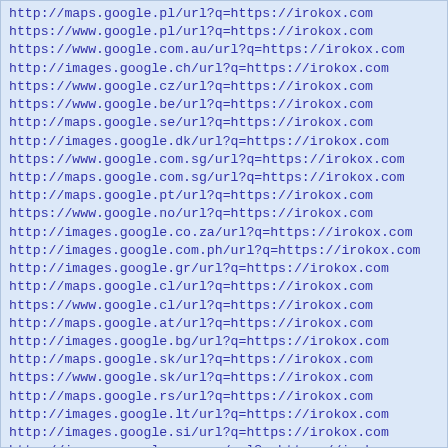http://maps.google.pl/url?q=https://irokox.com
https://www.google.pl/url?q=https://irokox.com
https://www.google.com.au/url?q=https://irokox.com
http://images.google.ch/url?q=https://irokox.com
https://www.google.cz/url?q=https://irokox.com
https://www.google.be/url?q=https://irokox.com
http://maps.google.se/url?q=https://irokox.com
http://images.google.dk/url?q=https://irokox.com
https://www.google.com.sg/url?q=https://irokox.com
http://maps.google.com.sg/url?q=https://irokox.com
http://maps.google.pt/url?q=https://irokox.com
https://www.google.no/url?q=https://irokox.com
http://images.google.co.za/url?q=https://irokox.com
http://images.google.com.ph/url?q=https://irokox.com
http://images.google.gr/url?q=https://irokox.com
http://maps.google.cl/url?q=https://irokox.com
https://www.google.cl/url?q=https://irokox.com
http://maps.google.at/url?q=https://irokox.com
http://images.google.bg/url?q=https://irokox.com
http://maps.google.sk/url?q=https://irokox.com
https://www.google.sk/url?q=https://irokox.com
http://maps.google.rs/url?q=https://irokox.com
http://images.google.lt/url?q=https://irokox.com
http://images.google.si/url?q=https://irokox.com
http://images.google.com.co/url?q=https://irokox.com
http://images.google.hr/url?q=https://irokox.com
https://www.google.hr/url?q=https://irokox.com
http://images.google.ee/url?q=https://irokox.com
https://www.google.lv/url?q=https://irokox.com